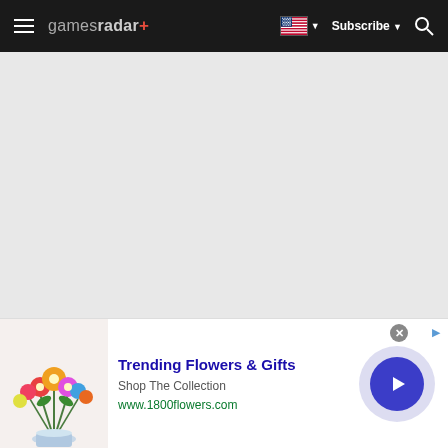gamesradar+ navigation bar with hamburger menu, logo, flag selector, Subscribe button, and search icon
[Figure (screenshot): Large grey empty content area below the navigation bar]
[Figure (infographic): Advertisement banner: Trending Flowers & Gifts - Shop The Collection - www.1800flowers.com, with flower bouquet image on left and blue circular arrow button on right]